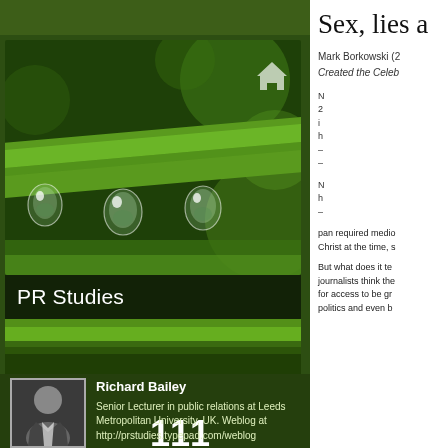[Figure (photo): Close-up photograph of a green plant stem with water droplets hanging from it, bokeh green background]
PR Studies
[Figure (photo): Profile photo of Richard Bailey, a man in a suit with arms crossed]
Richard Bailey
Senior Lecturer in public relations at Leeds Metropolitan University, UK. Weblog at http://prstudies.typepad.com/weblog
2	111
Sex, lies a
Mark Borkowski (2
Created the Celeb
pan required medio
Christ at the time, s
But what does it te
journalists think the
for access to be gr
politics and even b